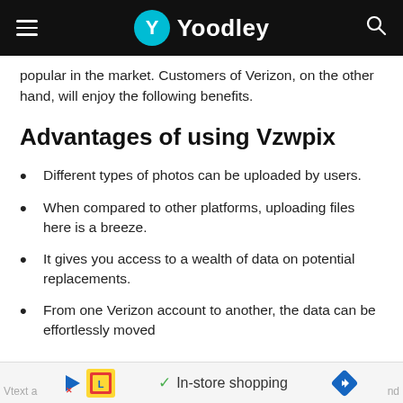Yoodley
popular in the market. Customers of Verizon, on the other hand, will enjoy the following benefits.
Advantages of using Vzwpix
Different types of photos can be uploaded by users.
When compared to other platforms, uploading files here is a breeze.
It gives you access to a wealth of data on potential replacements.
From one Verizon account to another, the data can be effortlessly moved
Vtext a...  In-store shopping  nd